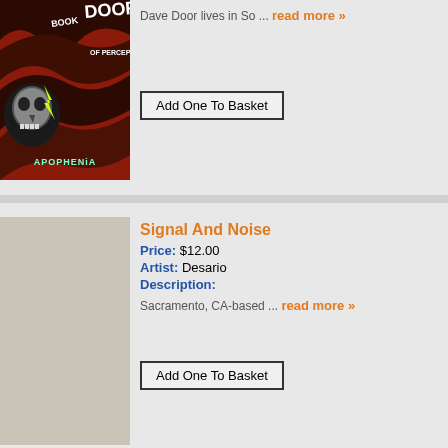[Figure (photo): Album cover art for 'Book of Perception - Apophenia': dark psychedelic design with skull, lightning bolt, and wavy text on red/black background]
Dave Door lives in So ... read more »
Add One To Basket
[Figure (photo): Album cover for 'Signal And Noise' by Desario: aerial green-tinted satellite/map photograph with white overlay card]
Signal And Noise
Price: $12.00
Artist: Desario
Description:
Sacramento, CA-based ... read more »
Add One To Basket